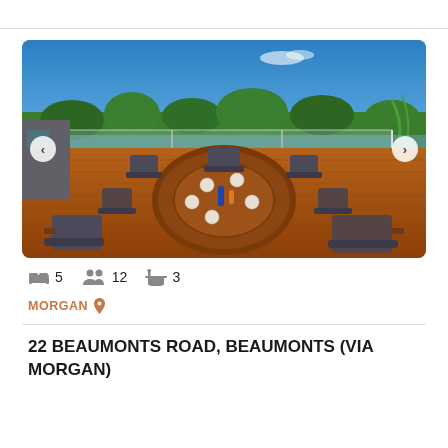[Figure (photo): Outdoor deck with a large round wooden dining table set for multiple guests, surrounded by wooden outdoor chairs with dark cushions. A glass balustrade railing is visible with a scenic view of green trees and a body of water under a blue sky.]
5 bedrooms  12 guests  3 bathrooms
MORGAN
22 BEAUMONTS ROAD, BEAUMONTS (VIA MORGAN)